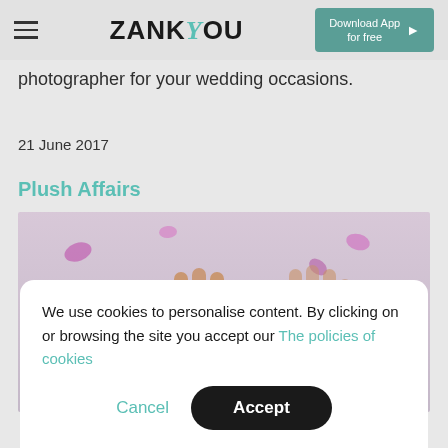ZANK YOU — Download App for free
photographer for your wedding occasions.
21 June 2017
Plush Affairs
[Figure (photo): Two henna-decorated hands reaching upward with pink and purple flower petals scattered around on a light background]
We use cookies to personalise content. By clicking on or browsing the site you accept our The policies of cookies